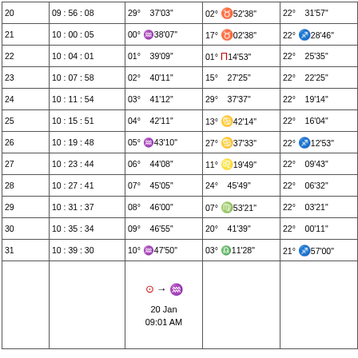| Day | Time | Sun pos | Moon pos | Other pos | Extra |
| --- | --- | --- | --- | --- | --- |
| 20 | 09:56:08 | 29° 37'03" | 02° ♉52'38" | 22° 31'57" | 18° |
| 21 | 10:00:05 | 00° ♒38'07" | 17° ♉02'38" | 22° ♐28'46" | 17° |
| 22 | 10:04:01 | 01° 39'09" | 01° ♊14'53" | 22° 25'35" | 16° |
| 23 | 10:07:58 | 02° 40'11" | 15° 27'25" | 22° 22'25" | 16° |
| 24 | 10:11:54 | 03° 41'12" | 29° 37'37" | 22° 19'14" | 15° |
| 25 | 10:15:51 | 04° 42'11" | 13° ♋42'14" | 22° 16'04" | 15° |
| 26 | 10:19:48 | 05° ♒43'10" | 27° ♋37'33" | 22° ♐12'53" | 15° |
| 27 | 10:23:44 | 06° 44'08" | 11° ♌19'49" | 22° 09'43" | 15° |
| 28 | 10:27:41 | 07° 45'05" | 24° 45'49" | 22° 06'32" | 15° |
| 29 | 10:31:37 | 08° 46'00" | 07° ♍53'21" | 22° 03'21" | 15° |
| 30 | 10:35:34 | 09° 46'55" | 20° 41'39" | 22° 00'11" | 16° |
| 31 | 10:39:30 | 10° ♒47'50" | 03° ♎11'28" | 21° ♐57'00" | 16° |